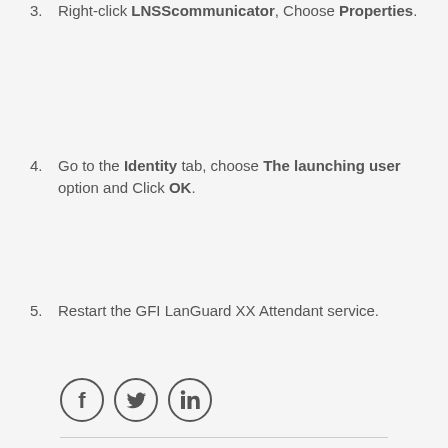3. Right-click LNSScommunicator, Choose Properties.
4. Go to the Identity tab, choose The launching user option and Click OK.
5. Restart the GFI LanGuard XX Attendant service.
[Figure (illustration): Social media icons: Facebook, Twitter, LinkedIn]